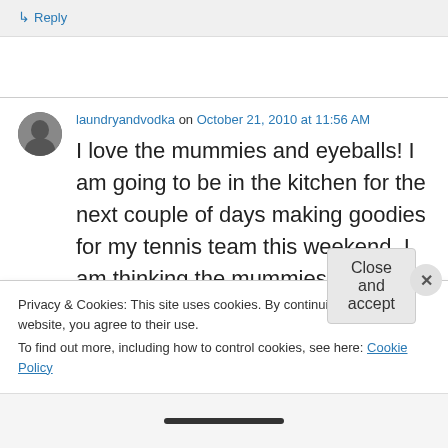↳ Reply
laundryandvodka on October 21, 2010 at 11:56 AM
I love the mummies and eyeballs! I am going to be in the kitchen for the next couple of days making goodies for my tennis team this weekend. I am thinking the mummies may be a
Privacy & Cookies: This site uses cookies. By continuing to use this website, you agree to their use.
To find out more, including how to control cookies, see here: Cookie Policy
Close and accept